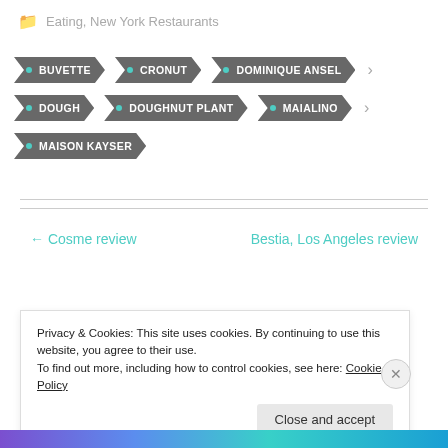Eating, New York Restaurants
BUVETTE
CRONUT
DOMINIQUE ANSEL
DOUGH
DOUGHNUT PLANT
MAIALINO
MAISON KAYSER
← Cosme review
Bestia, Los Angeles review
Privacy & Cookies: This site uses cookies. By continuing to use this website, you agree to their use. To find out more, including how to control cookies, see here: Cookie Policy
Close and accept